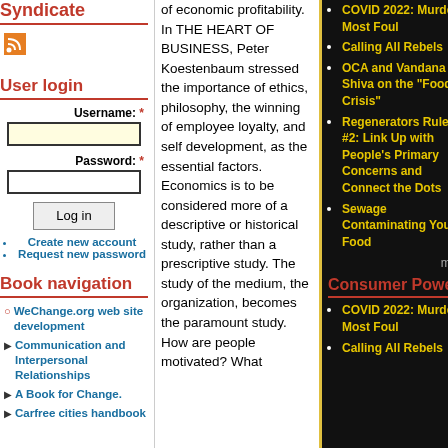Syndicate
[Figure (logo): RSS feed icon (orange square with RSS symbol)]
User login
Username: *
Password: *
Log in
Create new account
Request new password
Book navigation
WeChange.org web site development
Communication and Interpersonal Relationships
A Book for Change.
Carfree cities handbook
of economic profitability. In THE HEART OF BUSINESS, Peter Koestenbaum stressed the importance of ethics, philosophy, the winning of employee loyalty, and self development, as the essential factors. Economics is to be considered more of a descriptive or historical study, rather than a prescriptive study. The study of the medium, the organization, becomes the paramount study. How are people motivated? What
COVID 2022: Murder Most Foul
Calling All Rebels
OCA and Vandana Shiva on the "Food Crisis"
Regenerators Rule #2: Link Up with People's Primary Concerns and Connect the Dots
Sewage Contaminating Your Food
more
Consumer Power
COVID 2022: Murder Most Foul
Calling All Rebels